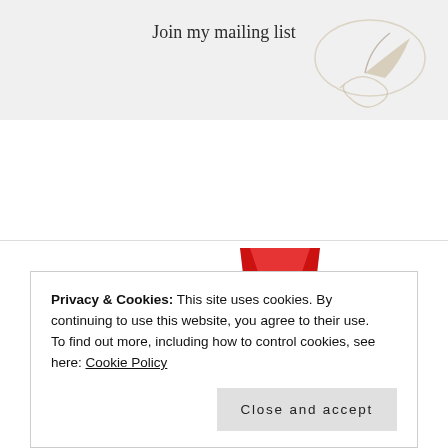[Figure (illustration): Mailing list signup banner with decorative script/pen illustration and text 'Join my mailing list']
[Figure (illustration): Gold medal award badge with red ribbon, text reading 'AWARDED TOP 10 UK' with a trophy icon]
Privacy & Cookies: This site uses cookies. By continuing to use this website, you agree to their use.
To find out more, including how to control cookies, see here: Cookie Policy
Close and accept